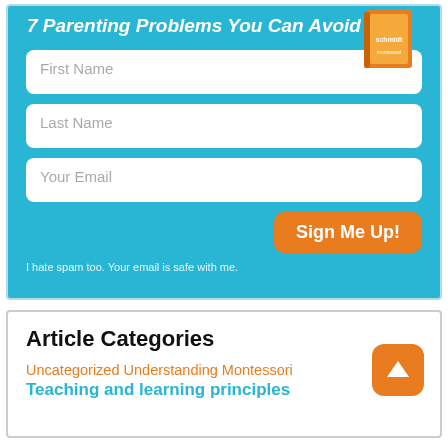7 Parenting Problems You Can Avoid
[Figure (illustration): Orange book cover thumbnail in top right of signup box]
First Name
Last Name
Your Email
Sign Me Up!
I hate spam too. Your email is safe with me.
Article Categories
Uncategorized Understanding Montessori
Teaching and learning principles